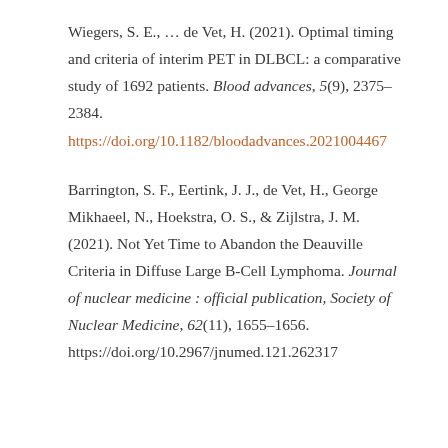Wiegers, S. E., … de Vet, H. (2021). Optimal timing and criteria of interim PET in DLBCL: a comparative study of 1692 patients. Blood advances, 5(9), 2375–2384. https://doi.org/10.1182/bloodadvances.2021004467
Barrington, S. F., Eertink, J. J., de Vet, H., George Mikhaeel, N., Hoekstra, O. S., & Zijlstra, J. M. (2021). Not Yet Time to Abandon the Deauville Criteria in Diffuse Large B-Cell Lymphoma. Journal of nuclear medicine : official publication, Society of Nuclear Medicine, 62(11), 1655–1656. https://doi.org/10.2967/jnumed.121.262317